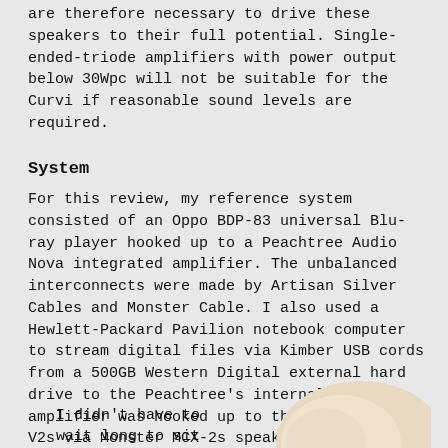are therefore necessary to drive these speakers to their full potential. Single-ended-triode amplifiers with power output below 30Wpc will not be suitable for the Curvi if reasonable sound levels are required.
System
For this review, my reference system consisted of an Oppo BDP-83 universal Blu-ray player hooked up to a Peachtree Audio Nova integrated amplifier. The unbalanced interconnects were made by Artisan Silver Cables and Monster Cable. I also used a Hewlett-Packard Pavilion notebook computer to stream digital files via Kimber USB cords from a 500GB Western Digital external hard drive to the Peachtree's internal DAC. The amplifier was hooked up to the Curvi Model 1 V2s via Monster MCX-2s speaker cables. Power was run through a Lindy six-outlet power conditioner.
Sound
I didn't have to wait long to sit
[Figure (photo): Partial view of a speaker, showing cream/beige colored curved cabinet shape]